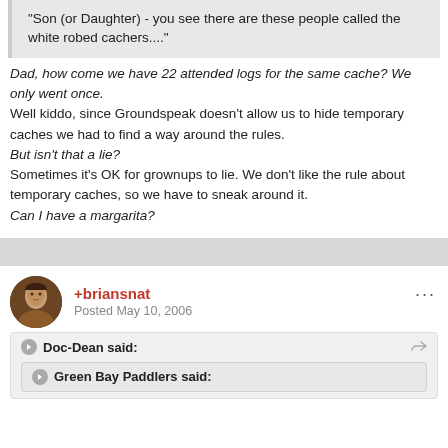"Son (or Daughter) - you see there are these people called the white robed cachers...."
Dad, how come we have 22 attended logs for the same cache? We only went once.
Well kiddo, since Groundspeak doesn't allow us to hide temporary caches we had to find a way around the rules.
But isn't that a lie?
Sometimes it's OK for grownups to lie. We don't like the rule about temporary caches, so we have to sneak around it.
Can I have a margarita?
+briansnat
Posted May 10, 2006
Doc-Dean said:
Green Bay Paddlers said: